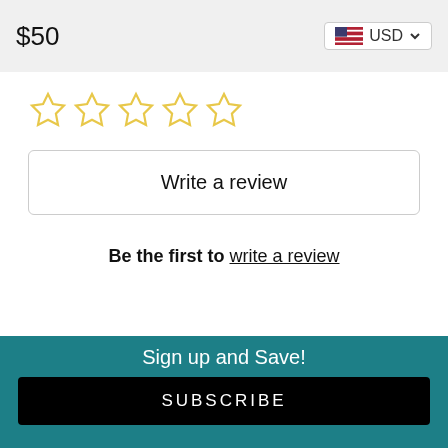$50
[Figure (other): USD currency selector button with US flag icon and dropdown arrow]
[Figure (other): Five empty star rating icons in yellow/gold outline]
Write a review
Be the first to write a review
Shipping and Returns   Contact Us
How To Wrap
[Figure (other): Gray circular close/X button]
Sign up and Save!
SUBSCRIBE